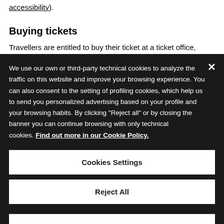accessibility).
Buying tickets
Travellers are entitled to buy their ticket at a ticket office, ticket machine, by telephone or the internet.
We use our own or third-party technical cookies to analyze the traffic on this website and improve your browsing experience. You can also consent to the setting of profiling cookies, which help us to send you personalized advertising based on your profile and your browsing habits. By clicking "Reject all" or by closing the banner you can continue browsing with only technical cookies. Find out more in our Cookie Policy.
Cookies Settings
Reject All